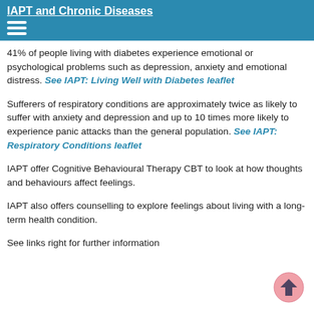IAPT and Chronic Diseases
41% of people living with diabetes experience emotional or psychological problems such as depression, anxiety and emotional distress. See IAPT: Living Well with Diabetes leaflet
Sufferers of respiratory conditions are approximately twice as likely to suffer with anxiety and depression and up to 10 times more likely to experience panic attacks than the general population. See IAPT: Respiratory Conditions leaflet
IAPT offer Cognitive Behavioural Therapy CBT to look at how thoughts and behaviours affect feelings.
IAPT also offers counselling to explore feelings about living with a long-term health condition.
See links right for further information
[Figure (logo): Circular logo with a navigation/arrow icon in pink/salmon color]